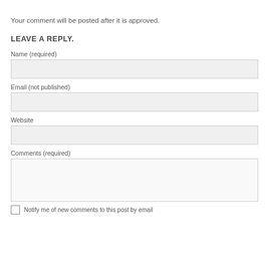Your comment will be posted after it is approved.
LEAVE A REPLY.
Name (required)
Email (not published)
Website
Comments (required)
Notify me of new comments to this post by email